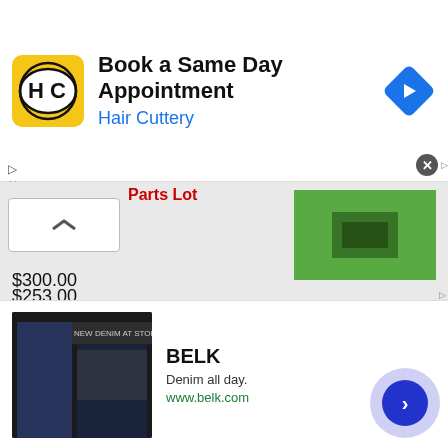[Figure (other): Hair Cuttery advertisement banner with logo, headline 'Book a Same Day Appointment', brand name 'Hair Cuttery', and navigation arrow icon]
Parts Lot
$300.00
DCX-VM100 MOTION CONTROL MOTHERBOARD MFG BY PMC
$253.00
[Figure (other): BELK advertisement banner with brand name, 'Denim all day.', 'www.belk.com', and navigation arrow]